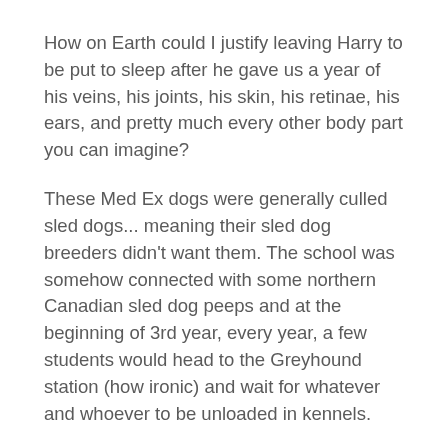How on Earth could I justify leaving Harry to be put to sleep after he gave us a year of his veins, his joints, his skin, his retinae, his ears, and pretty much every other body part you can imagine?
These Med Ex dogs were generally culled sled dogs... meaning their sled dog breeders didn't want them. The school was somehow connected with some northern Canadian sled dog peeps and at the beginning of 3rd year, every year, a few students would head to the Greyhound station (how ironic) and wait for whatever and whoever to be unloaded in kennels.
Harry was one of ours that year.
The idea was that, out of 72 students (